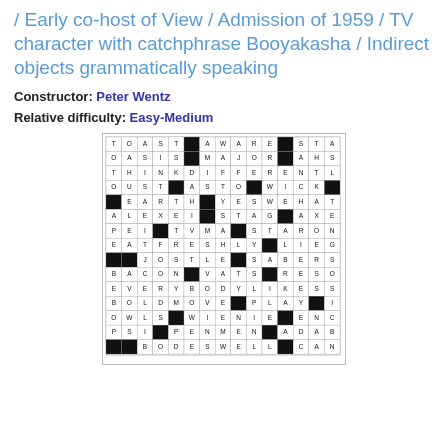/ Early co-host of View / Admission of 1959 / TV character with catchphrase Booyakasha / Indirect objects grammatically speaking
Constructor: Peter Wentz
Relative difficulty: Easy-Medium
[Figure (other): Crossword puzzle grid filled with letters and black squares. Visible answers include TOAST, AWARE, APPS, STAN, OASIS, MAJOR, RIOT, AHSO, THINKDIFFERENTLY, LEAH, OUST, ASTO, WICK, SUNNI, EARTH, YESWEHAVETHAT, ALEXEI, STAG, AXELS, PEI, TVMA, STARONES, EATFRESHLY, LIEGES, JLO, JOSTLE, SABERS, TEAT, BACON, VATS, RESORTTO, EVERYBODYLIKESSARALEE, BOLDMOVE, PLAY, IVINS, OWLS, WIENIE, ENCAGE, PSI, PENMEN, ADABWILLDO, BODESWELL, MCAN, IOU, DOUBT, AIDE, SATFOR, LETGOOFMYEGO, CHLOE, ELEGY, CEED, OHHI, ALAS]